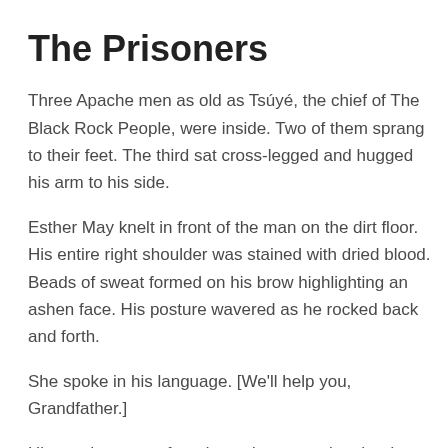The Prisoners
Three Apache men as old as Tsúyé, the chief of The Black Rock People, were inside. Two of them sprang to their feet. The third sat cross-legged and hugged his arm to his side.
Esther May knelt in front of the man on the dirt floor. His entire right shoulder was stained with dried blood. Beads of sweat formed on his brow highlighting an ashen face. His posture wavered as he rocked back and forth.
She spoke in his language. [We'll help you, Grandfather.]
His words were soft and steady, countering the deep pain in his eyes. [Thank you, Daughter.]
Esther May touched the old man's cheek with her